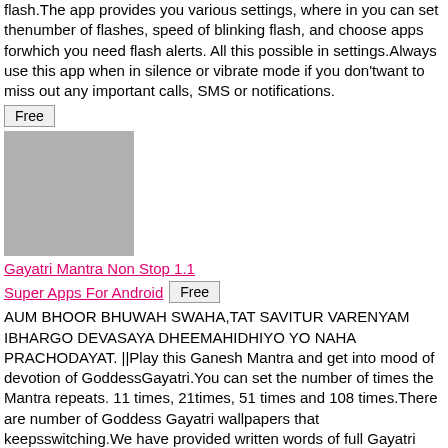flash.The app provides you various settings, where in you can set thenumber of flashes, speed of blinking flash, and choose apps forwhich you need flash alerts. All this possible in settings.Always use this app when in silence or vibrate mode if you don'twant to miss out any important calls, SMS or notifications.
Free
[Figure (photo): Gray placeholder image box]
Gayatri Mantra Non Stop 1.1
Super Apps For Android
Free
AUM BHOOR BHUWAH SWAHA,TAT SAVITUR VARENYAM IBHARGO DEVASAYA DHEEMAHIDHIYO YO NAHA PRACHODAYAT. ||Play this Ganesh Mantra and get into mood of devotion of GoddessGayatri.You can set the number of times the Mantra repeats. 11 times, 21times, 51 times and 108 times.There are number of Goddess Gayatri wallpapers that keepsswitching.We have provided written words of full Gayatri Mantra.
Free